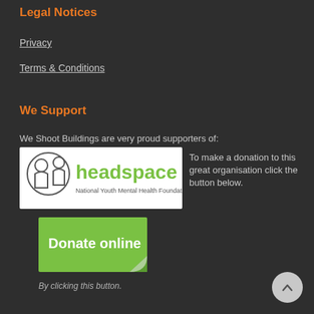Legal Notices
Privacy
Terms & Conditions
We Support
We Shoot Buildings are very proud supporters of:
[Figure (logo): Headspace – National Youth Mental Health Foundation logo with two figures and green text]
To make a donation to this great organisation click the button below.
[Figure (other): Green 'Donate online' button with a curled corner]
By clicking this button.